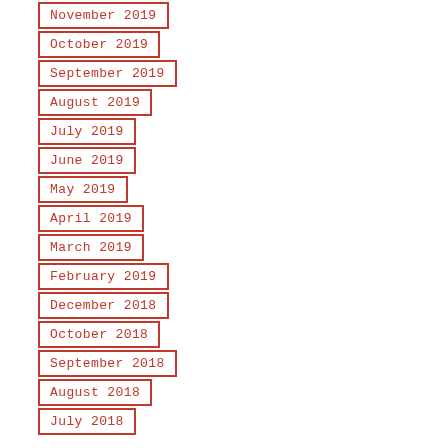November 2019
October 2019
September 2019
August 2019
July 2019
June 2019
May 2019
April 2019
March 2019
February 2019
December 2018
October 2018
September 2018
August 2018
July 2018